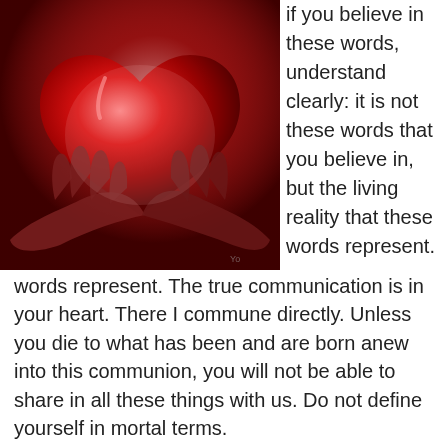[Figure (photo): A red glowing heart resting in open human hands against a dark red background]
If you believe in these words, understand clearly: it is not these words that you believe in, but the living reality that these words represent. The true communication is in your heart. There I commune directly. Unless you die to what has been and are born anew into this communion, you will not be able to share in all these things with us. Do not define yourself in mortal terms.
My message is a message of action. It is not something to be taken down from the shelf and dusted off on special occasions. Whoever learns to see